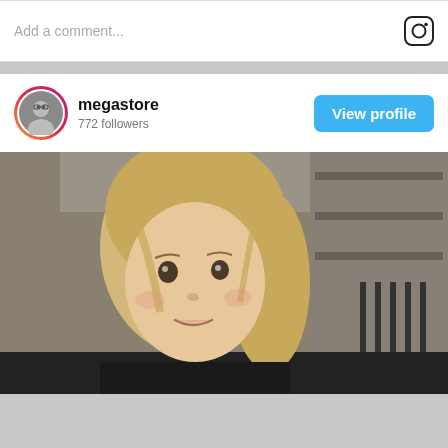Add a comment...
[Figure (screenshot): Instagram profile card for megastore with 772 followers and a View profile button]
[Figure (photo): Close-up photo of a young blonde child looking at the camera, indoor setting with furniture in background]